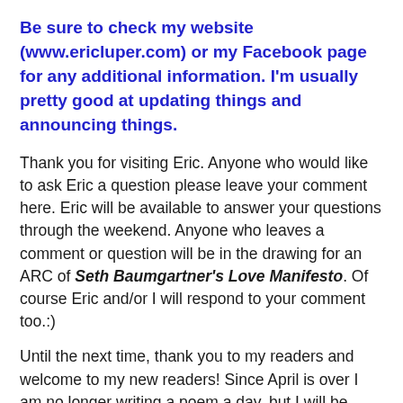Be sure to check my website (www.ericluper.com) or my Facebook page for any additional information. I'm usually pretty good at updating things and announcing things.
Thank you for visiting Eric. Anyone who would like to ask Eric a question please leave your comment here. Eric will be available to answer your questions through the weekend. Anyone who leaves a comment or question will be in the drawing for an ARC of Seth Baumgartner's Love Manifesto. Of course Eric and/or I will respond to your comment too.:)
Until the next time, thank you to my readers and welcome to my new readers! Since April is over I am no longer writing a poem a day, but I will be writing a poem a week on Wednesdays. I haven't decided if I am going to post those or not. My thanks to everyone who commented and helped me to choose the 5 poems to send for submission. Here they are: